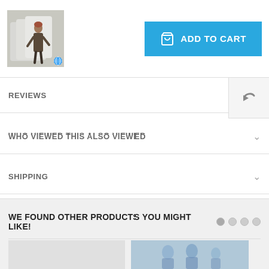[Figure (photo): Product thumbnail image showing a person standing next to pillows, with a globe/language badge at bottom right]
[Figure (other): Blue ADD TO CART button with shopping bag icon]
[Figure (other): Undo/back arrow icon button in light gray box]
REVIEWS
WHO VIEWED THIS ALSO VIEWED
SHIPPING
WE FOUND OTHER PRODUCTS YOU MIGHT LIKE!
[Figure (photo): Product card image placeholder (light gray)]
[Figure (photo): Product card image showing people, blue-tinted]